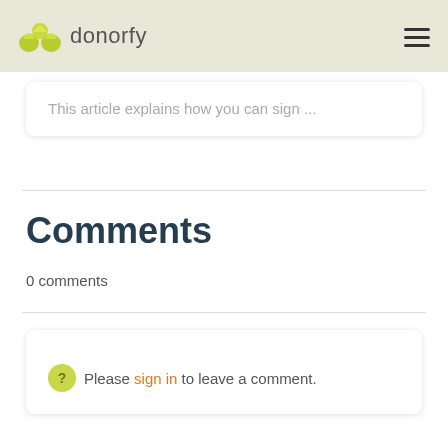donorfy
This article explains how you can sign ...
Comments
0 comments
Please sign in to leave a comment.